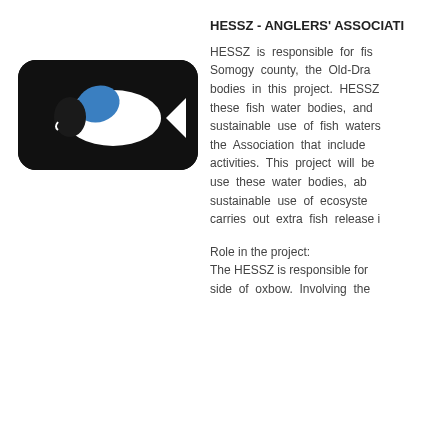[Figure (logo): HESSZ Anglers' Association logo: dark background with a white and blue fish silhouette illustration on a rounded rectangle]
HESSZ - ANGLERS' ASSOCIATI...
HESSZ is responsible for fi... Somogy county, the Old-Dra... bodies in this project. HESSZ ... these fish water bodies, and... sustainable use of fish waters... the Association that include... activities. This project will be ... use these water bodies, ab... sustainable use of ecosyste... carries out extra fish release i...
Role in the project:
The HESSZ is responsible for...
side of oxbow. Involving the...